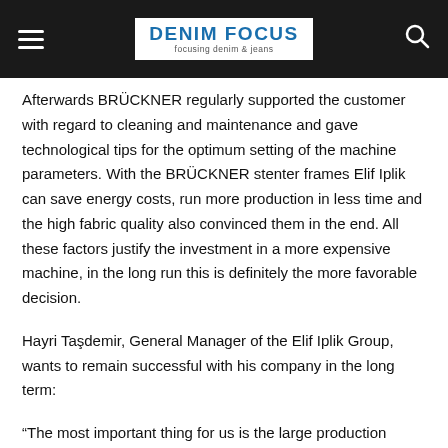DENIM FOCUS focusing denim & jeans
Afterwards BRÜCKNER regularly supported the customer with regard to cleaning and maintenance and gave technological tips for the optimum setting of the machine parameters. With the BRÜCKNER stenter frames Elif Iplik can save energy costs, run more production in less time and the high fabric quality also convinced them in the end. All these factors justify the investment in a more expensive machine, in the long run this is definitely the more favorable decision.
Hayri Taşdemir, General Manager of the Elif Iplik Group, wants to remain successful with his company in the long term:
“The most important thing for us is the large production capacity, high quality of goods and flexibility. The customers’